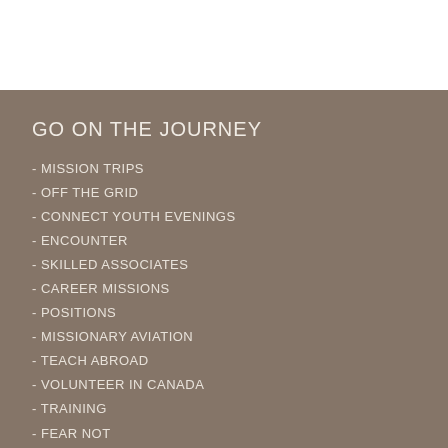GO ON THE JOURNEY
- MISSION TRIPS
- OFF THE GRID
- CONNECT YOUTH EVENINGS
- ENCOUNTER
- SKILLED ASSOCIATES
- CAREER MISSIONS
- POSITIONS
- MISSIONARY AVIATION
- TEACH ABROAD
- VOLUNTEER IN CANADA
- TRAINING
- FEAR NOT
- WHY CHOOSE ETHNOS?